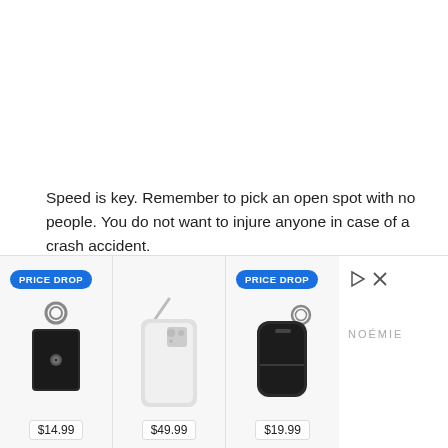Speed is key. Remember to pick an open spot with no people. You do not want to injure anyone in case of a crash accident.
With this mastered, you are getting really close to being a Jedi multirotor pilot. Well done, get yourself a beer!
[Figure (other): Advertisement banner with three product items: a leather keychain case ($14.99, PRICE DROP), a phone case with strap ($49.99), and an AirPods case ($19.99, PRICE DROP), with a Noémie brand logo and ad controls (play/close).]